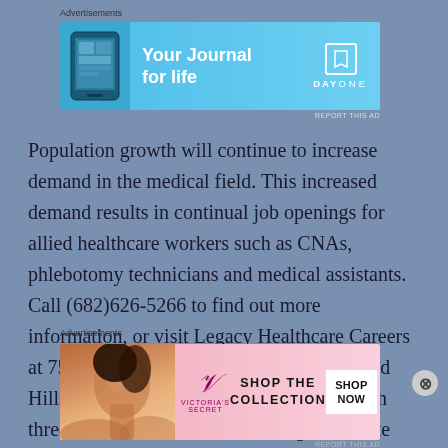[Figure (screenshot): Advertisement banner for Day One journal app with light blue background, phone image on left, 'Your Journal for life' text, and DAY ONE branding with bookmark icon]
Population growth will continue to increase demand in the medical field. This increased demand results in continual job openings for allied healthcare workers such as CNAs, phlebotomy technicians and medical assistants. Call (682)626-5266 to find out more information, or visit Legacy Healthcare Careers at 7505 Glenview Drive, Suite I, N. Richland Hills TX 76180. Jump-start your legacy with three medical field credentials to get ultimate preparation for the healthcare
[Figure (screenshot): Victoria's Secret advertisement with pink background, model photo on left, VS logo, 'SHOP THE COLLECTION' text, and 'SHOP NOW' button]